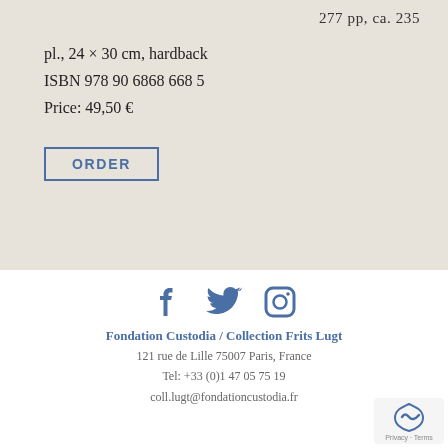277 pp, ca. 235
pl., 24 × 30 cm, hardback
ISBN 978 90 6868 668 5
Price: 49,50 €
ORDER
[Figure (illustration): Social media icons: Facebook, Twitter, Instagram in blue]
Fondation Custodia / Collection Frits Lugt
121 rue de Lille 75007 Paris, France
Tel: +33 (0)1 47 05 75 19
coll.lugt@fondationcustodia.fr